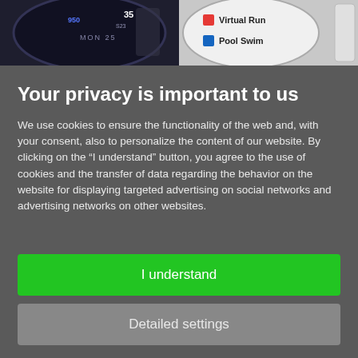[Figure (screenshot): Two smartwatch images at the top — left shows a dark watch face with number 35 and MON 25, right shows a light watch face with Virtual Run and Pool Swim menu items]
Your privacy is important to us
We use cookies to ensure the functionality of the web and, with your consent, also to personalize the content of our website. By clicking on the “I understand” button, you agree to the use of cookies and the transfer of data regarding the behavior on the website for displaying targeted advertising on social networks and advertising networks on other websites.
I understand
Detailed settings